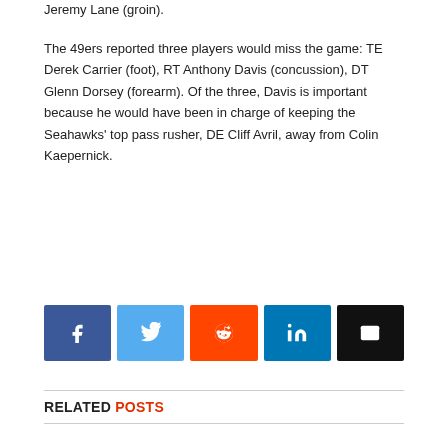Jeremy Lane (groin).
The 49ers reported three players would miss the game: TE Derek Carrier (foot), RT Anthony Davis (concussion), DT Glenn Dorsey (forearm). Of the three, Davis is important because he would have been in charge of keeping the Seahawks' top pass rusher, DE Cliff Avril, away from Colin Kaepernick.
[Figure (infographic): Social sharing buttons: Facebook (blue), Twitter (light blue), Reddit (orange), LinkedIn (dark blue), Email (black)]
RELATED POSTS